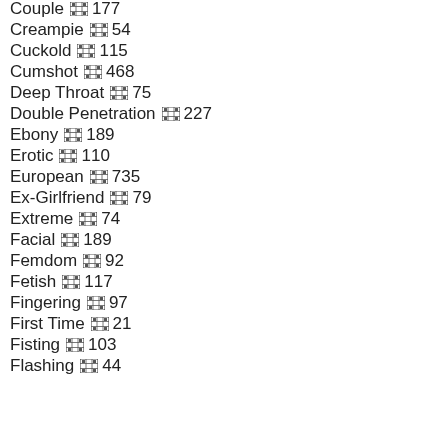Couple 🎞 177
Creampie 🎞 54
Cuckold 🎞 115
Cumshot 🎞 468
Deep Throat 🎞 75
Double Penetration 🎞 227
Ebony 🎞 189
Erotic 🎞 110
European 🎞 735
Ex-Girlfriend 🎞 79
Extreme 🎞 74
Facial 🎞 189
Femdom 🎞 92
Fetish 🎞 117
Fingering 🎞 97
First Time 🎞 21
Fisting 🎞 103
Flashing 🎞 44